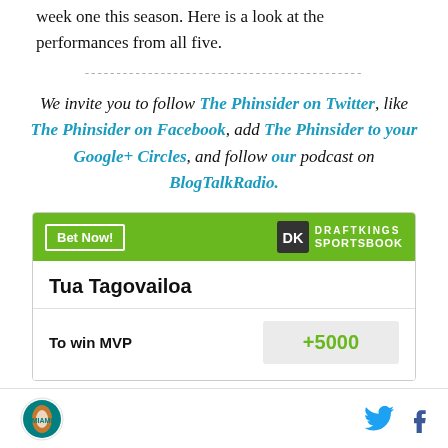week one this season. Here is a look at the performances from all five.
We invite you to follow The Phinsider on Twitter, like The Phinsider on Facebook, add The Phinsider to your Google+ Circles, and follow our podcast on BlogTalkRadio.
| Tua Tagovailoa |  |
| --- | --- |
| To win MVP | +5000 |
Miami Dolphins logo, Twitter icon, Facebook icon